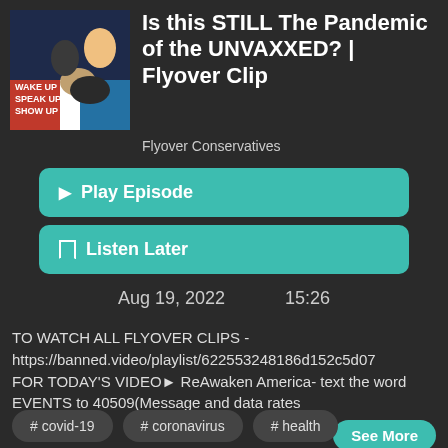[Figure (photo): Podcast thumbnail showing two people (man and woman) with text WAKE UP, SPEAK UP, SHOW UP on a red-white-blue themed background]
Is this STILL The Pandemic of the UNVAXXED? | Flyover Clip
Flyover Conservatives
▶ Play Episode
☐ Listen Later
Aug 19, 2022     15:26
TO WATCH ALL FLYOVER CLIPS - https://banned.video/playlist/622553248186d152c5d07
FOR TODAY'S VIDEO► ReAwaken America- text the word EVENTS to 40509(Message and data rates
See More
# covid-19   # coronavirus   # health